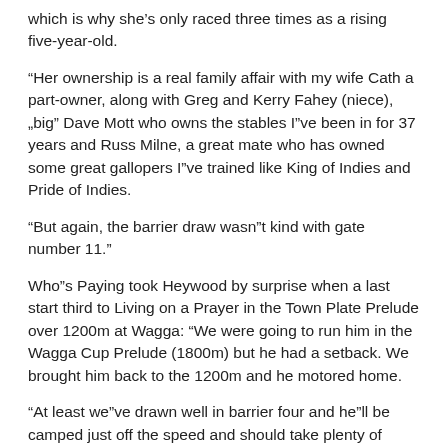which is why she’s only raced three times as a rising five-year-old.
“Her ownership is a real family affair with my wife Cath a part-owner, along with Greg and Kerry Fahey (niece), „big” Dave Mott who owns the stables I”ve been in for 37 years and Russ Milne, a great mate who has owned some great gallopers I”ve trained like King of Indies and Pride of Indies.
“But again, the barrier draw wasn”t kind with gate number 11.”
Who”s Paying took Heywood by surprise when a last start third to Living on a Prayer in the Town Plate Prelude over 1200m at Wagga: “We were going to run him in the Wagga Cup Prelude (1800m) but he had a setback. We brought him back to the 1200m and he motored home.
“At least we”ve drawn well in barrier four and he”ll be camped just off the speed and should take plenty of holding out.”
By Mark Brassel